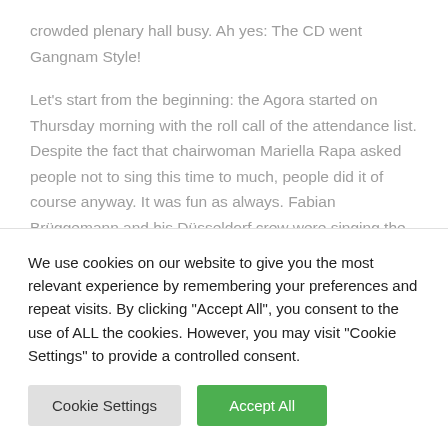crowded plenary hall busy. Ah yes: The CD went Gangnam Style!
Let's start from the beginning: the Agora started on Thursday morning with the roll call of the attendance list. Despite the fact that chairwoman Mariella Rapa asked people not to sing this time to much, people did it of course anyway. It was fun as always. Fabian Brüggemann and his Düsseldorf crew were singing the traditional "We are not from Cologne song". Fabian, who just moved to
We use cookies on our website to give you the most relevant experience by remembering your preferences and repeat visits. By clicking "Accept All", you consent to the use of ALL the cookies. However, you may visit "Cookie Settings" to provide a controlled consent.